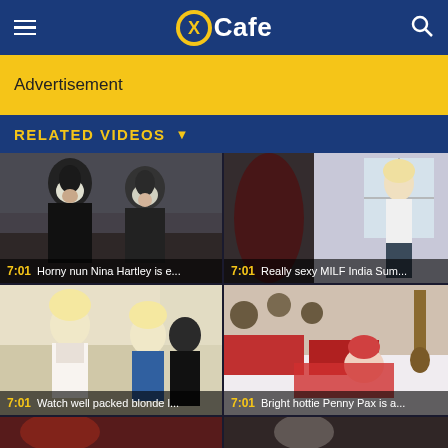XCafe
Advertisement
RELATED VIDEOS
[Figure (screenshot): Video thumbnail: two figures in nun habits facing each other outdoors, dark moody scene]
7:01  Horny nun Nina Hartley is e...
[Figure (screenshot): Video thumbnail: blonde woman in white tank top standing near window, blurred foreground]
7:01  Really sexy MILF India Sum...
[Figure (screenshot): Video thumbnail: two blonde women in revealing clothing indoors with a man in background]
7:01  Watch well packed blonde l...
[Figure (screenshot): Video thumbnail: redhead woman in red outfit on white couch in bedroom]
7:01  Bright hottie Penny Pax is a...
[Figure (screenshot): Video thumbnail: woman with red hair outdoors near trees]
[Figure (screenshot): Video thumbnail: dark-haired woman in white skirt]